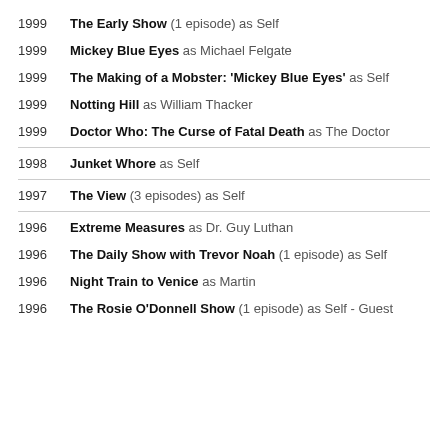1999   The Early Show (1 episode) as Self
1999   Mickey Blue Eyes as Michael Felgate
1999   The Making of a Mobster: 'Mickey Blue Eyes' as Self
1999   Notting Hill as William Thacker
1999   Doctor Who: The Curse of Fatal Death as The Doctor
1998   Junket Whore as Self
1997   The View (3 episodes) as Self
1996   Extreme Measures as Dr. Guy Luthan
1996   The Daily Show with Trevor Noah (1 episode) as Self
1996   Night Train to Venice as Martin
1996   The Rosie O'Donnell Show (1 episode) as Self - Guest